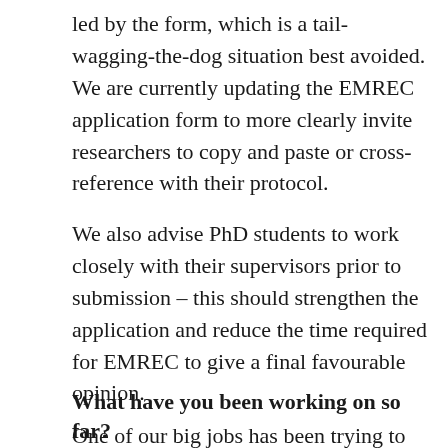led by the form, which is a tail-wagging-the-dog situation best avoided. We are currently updating the EMREC application form to more clearly invite researchers to copy and paste or cross-reference with their protocol.
We also advise PhD students to work closely with their supervisors prior to submission – this should strengthen the application and reduce the time required for EMREC to give a final favourable opinion.
What have you been working on so far?
One of our big jobs has been trying to set